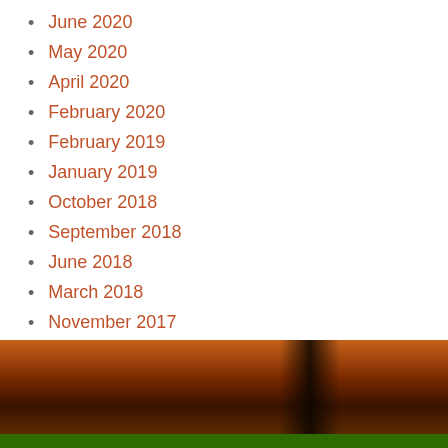June 2020
May 2020
April 2020
February 2020
February 2019
January 2019
October 2018
September 2018
June 2018
March 2018
November 2017
July 2017
April 2017
[Figure (photo): Dark brown and orange background image with a green stripe at the bottom, appearing to be a decorative footer banner.]